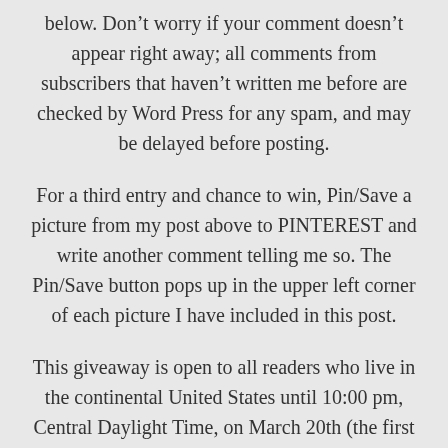below. Don't worry if your comment doesn't appear right away; all comments from subscribers that haven't written me before are checked by Word Press for any spam, and may be delayed before posting.
For a third entry and chance to win, Pin/Save a picture from my post above to PINTEREST and write another comment telling me so. The Pin/Save button pops up in the upper left corner of each picture I have included in this post.
This giveaway is open to all readers who live in the continental United States until 10:00 pm, Central Daylight Time, on March 20th (the first